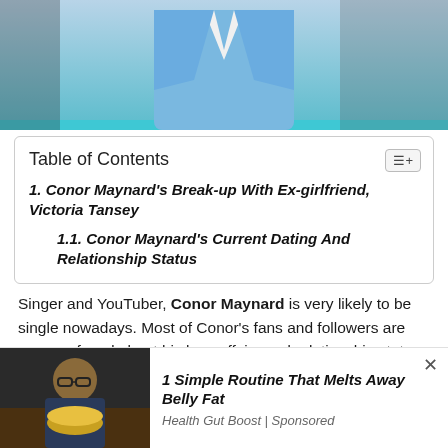[Figure (photo): Person wearing a light blue suit with white shirt, photographed from chest up against a light background]
| 1. Conor Maynard's Break-up With Ex-girlfriend, Victoria Tansey |
| 1.1. Conor Maynard's Current Dating And Relationship Status |
Singer and YouTuber, Conor Maynard is very likely to be single nowadays. Most of Conor's fans and followers are very confused about his love affairs and relationship status. He has not revealed anything about his love-life
[Figure (photo): Advertisement image showing a person with glasses holding food in a bowl]
1 Simple Routine That Melts Away Belly Fat
Health Gut Boost | Sponsored